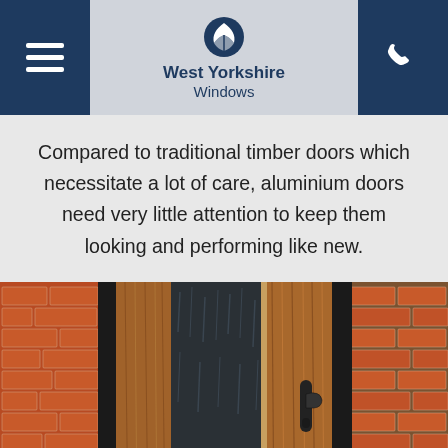West Yorkshire Windows
Compared to traditional timber doors which necessitate a lot of care, aluminium doors need very little attention to keep them looking and performing like new.
[Figure (photo): Close-up photo of a wooden front door with a dark glass panel and black handle, set in a red brick wall.]